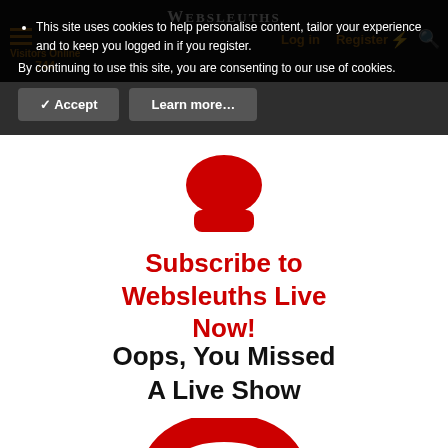Websleuths — Visitors Online 744 — Log in — Register
This site uses cookies to help personalise content, tailor your experience and to keep you logged in if you register. By continuing to use this site, you are consenting to our use of cookies.
Accept | Learn more...
[Figure (illustration): Red megaphone/speaker icon]
Subscribe to Websleuths Live Now!
Oops, You Missed A Live Show
[Figure (illustration): Red headphones icon (top portion visible)]